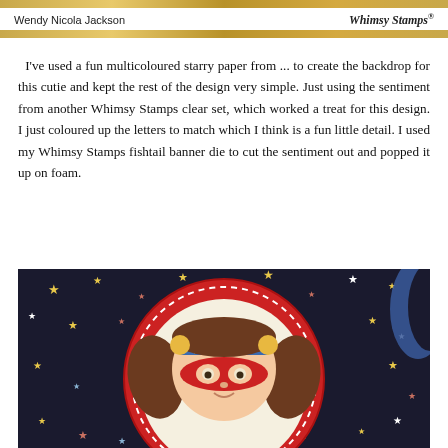Wendy Nicola Jackson    Whimsy Stamps®
I've used a fun multicoloured starry paper from ... to create the backdrop for this cutie and kept the rest of the design very simple. Just using the sentiment from another Whimsy Stamps clear set, which worked a treat for this design. I just coloured up the letters to match which I think is a fun little detail. I used my Whimsy Stamps fishtail banner die to cut the sentiment out and popped it up on foam.
[Figure (photo): Close-up photo of a handmade greeting card showing a cute cartoon girl character dressed as a superhero with a red mask and headband adorned with gold stars, set against a dark starry paper background with a red stitched circle frame.]